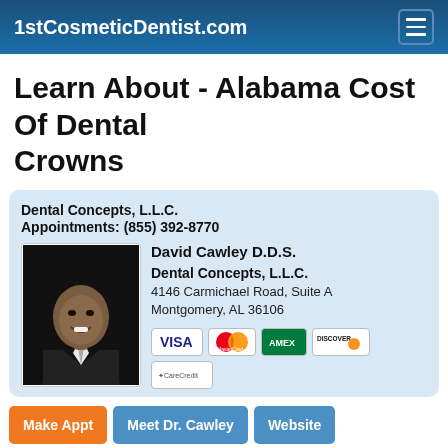1stCosmeticDentist.com
Learn About - Alabama Cost Of Dental Crowns
Dental Concepts, L.L.C.
Appointments: (855) 392-8770
[Figure (photo): Headshot photo of David Cawley D.D.S. in a dark suit]
David Cawley D.D.S.
Dental Concepts, L.L.C.
4146 Carmichael Road, Suite A
Montgomery, AL 36106
[Figure (other): Payment method logos: Visa, MasterCard, American Express (green), Discover, CareCredit]
Make Appt  Meet Dr. Cawley  Website
more info ...